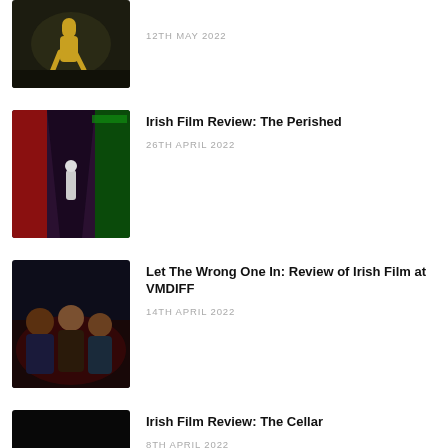[Figure (photo): Partial top entry — child running outdoors in golden yellow outfit, dark background]
12TH MAY 2022
[Figure (photo): Film still from The Perished — colorful hallway with red and green lighting, figure in distance]
Irish Film Review: The Perished
26TH APRIL 2022
[Figure (photo): Film still from Let The Wrong One In — three people looking alarmed in dark setting with red lighting]
Let The Wrong One In: Review of Irish Film at VMDIFF
14TH APRIL 2022
[Figure (photo): Film still from The Cellar — person with glowing orb of light in dark cellar]
Irish Film Review: The Cellar
8TH APRIL 2022
[Figure (photo): Film still from Róise and Frank — dark bedroom scene, partial view]
Róise and Frank: Review of Irish Film at